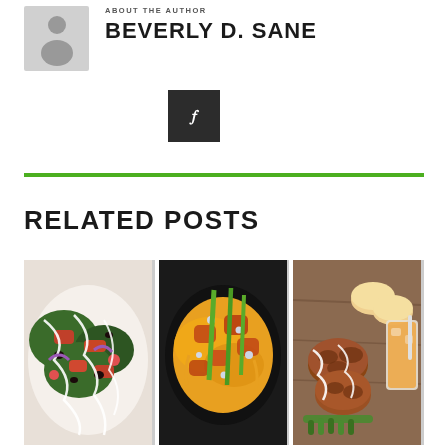ABOUT THE AUTHOR
BEVERLY D. SANE
[Figure (illustration): Dark square button with a small white icon (social media/link button)]
RELATED POSTS
[Figure (photo): Three food photos side by side: a colorful salad with white drizzle, a cheesy buffalo mac dish with green garnish, and fried chicken pieces with biscuits and an orange drink]